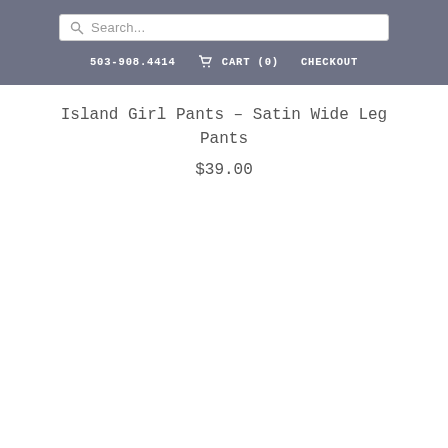Search...
503-908.4414   CART (0)   CHECKOUT
Island Girl Pants – Satin Wide Leg Pants
$39.00